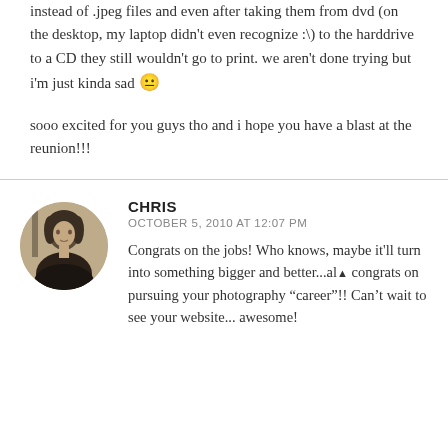instead of .jpeg files and even after taking them from dvd (on the desktop, my laptop didn't even recognize :\) to the harddrive to a CD they still wouldn't go to print. we aren't done trying but i'm just kinda sad 😐
sooo excited for you guys tho and i hope you have a blast at the reunion!!!
CHRIS
OCTOBER 5, 2010 AT 12:07 PM
Congrats on the jobs! Who knows, maybe it'll turn into something bigger and better...also congrats on pursuing your photography "career"!! Can't wait to see your website... awesome!